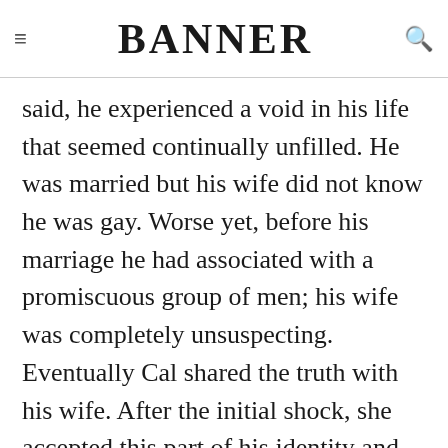≡ BANNER 🔍
said, he experienced a void in his life that seemed continually unfilled. He was married but his wife did not know he was gay. Worse yet, before his marriage he had associated with a promiscuous group of men; his wife was completely unsuspecting. Eventually Cal shared the truth with his wife. After the initial shock, she accepted this part of his identity and forgave his lack of openness. Although being honest with his wife has helped Cal experience a measure of healing, he cannot say that the void in his life is completely